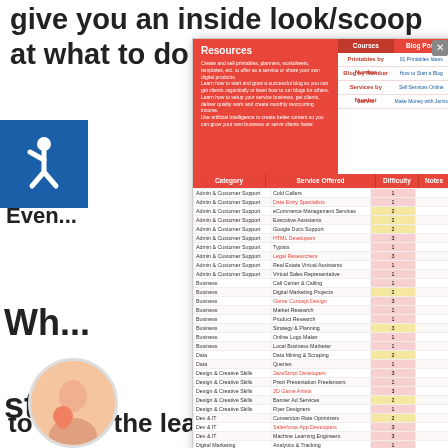give you an inside look/scoop at what to do (or...
wn b... learni...
[Figure (infographic): Accessibility icon - blue square with white wheelchair symbol]
Even...
Wh... ste...
[Figure (screenshot): Popup overlay showing a Resources panel with navigation links for Courses and Blog Post, and a table listing services by Category, Service Offered, Difficulty, and Notes. Categories include Admin & Customer Support, Business, Data, Design & Creative Skills, Dev & IT, Digital Marketing, Graphics & Design, Lifestyle, Music & Audio, Programming & Tech, and more.]
[Figure (photo): Circular avatar photo of a woman with a child]
If this... a...
to make the leap – there is literally no